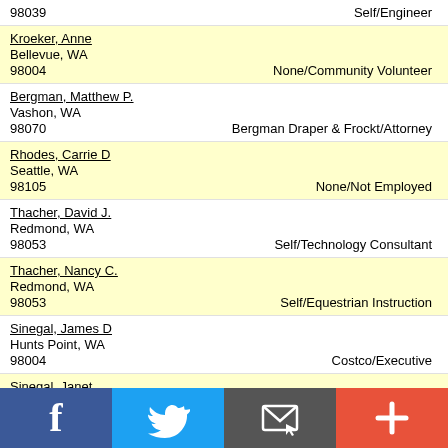98039 | Self/Engineer
Kroeker, Anne
Bellevue, WA
98004 | None/Community Volunteer
Bergman, Matthew P.
Vashon, WA
98070 | Bergman Draper & Frockt/Attorney
Rhodes, Carrie D
Seattle, WA
98105 | None/Not Employed
Thacher, David J.
Redmond, WA
98053 | Self/Technology Consultant
Thacher, Nancy C.
Redmond, WA
98053 | Self/Equestrian Instruction
Sinegal, James D
Hunts Point, WA
98004 | Costco/Executive
Sinegal, Janet
Hunts Point, WA
98004 | None/Homemaker
Slyngstad, Greg
Sammamish, WA
98075 | Self/Investor
[Figure (infographic): Social media sharing footer bar with Facebook (blue), Twitter (light blue), Email/message (dark gray), and Plus/add (red-orange) icons]